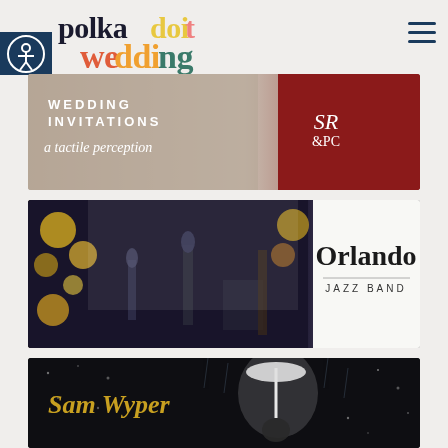[Figure (logo): Polka Dot Wedding logo with colorful lettering and accessibility button, hamburger menu icon]
[Figure (photo): Wedding invitations advertisement showing fabric texture, monogram SR&PC on red envelope, text reads 'WEDDING INVITATIONS a tactile perception']
[Figure (photo): Orlando Jazz Band performing live with musicians playing saxophone, trumpet, double bass, drums amid gold and silver balloons, Orlando Jazz Band logo overlay]
[Figure (photo): Sam Wyper photography advertisement showing bride and groom kissing under white umbrella in rain with sparkles, Sam Wyper gold script logo overlay]